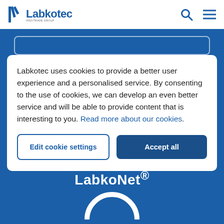Labkotec
Labkotec uses cookies to provide a better user experience and a personalised service. By consenting to the use of cookies, we can develop an even better service and will be able to provide content that is interesting to you. Read more about our cookies.
Edit cookie settings
Accept all
LabkoNet®